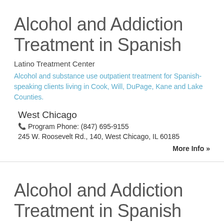Alcohol and Addiction Treatment in Spanish
Latino Treatment Center
Alcohol and substance use outpatient treatment for Spanish-speaking clients living in Cook, Will, DuPage, Kane and Lake Counties.
West Chicago
Program Phone: (847) 695-9155
245 W. Roosevelt Rd., 140, West Chicago, IL 60185
More Info »
Alcohol and Addiction Treatment in Spanish